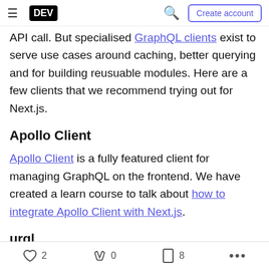DEV — Create account
API call. But specialised GraphQL clients exist to serve use cases around caching, better querying and for building reusuable modules. Here are a few clients that we recommend trying out for Next.js.
Apollo Client
Apollo Client is a fully featured client for managing GraphQL on the frontend. We have created a learn course to talk about how to integrate Apollo Client with Next.js.
urql
urql is a lightweight featured client with automatic caching and a slightly different approach to caching
2  0  8  ...